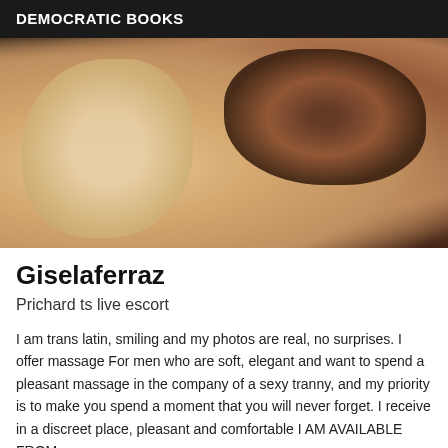DEMOCRATIC BOOKS
[Figure (photo): Close-up photo showing a person wearing lace stockings, with dark decorative elements visible]
Giselaferraz
Prichard ts live escort
I am trans latin, smiling and my photos are real, no surprises. I offer massage For men who are soft, elegant and want to spend a pleasant massage in the company of a sexy tranny, and my priority is to make you spend a moment that you will never forget. I receive in a discreet place, pleasant and comfortable I AM AVAILABLE FROM